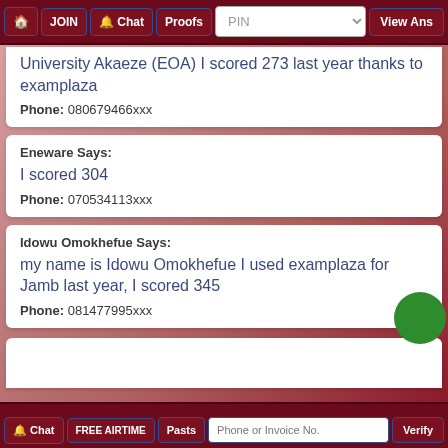🏠 JOIN 🔔 Chat Proofs PIN ▲▼ View Ans
University Akaeze (EOA) I scored 273 last year thanks to examplaza
Phone: 080679466xxx
Eneware Says:
I scored 304
Phone: 070534113xxx
Idowu Omokhefue Says:
my name is Idowu Omokhefue I used examplaza for Jamb last year, I scored 345
Phone: 081477995xxx
🔔 Chat FREE AIRTIME Pasts Phone or Invoice No. Verify